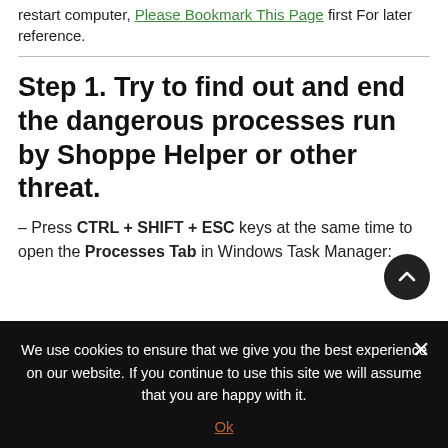restart computer, Please Bookmark This Page first For later reference.
Step 1. Try to find out and end the dangerous processes run by Shoppe Helper or other threat.
– Press CTRL + SHIFT + ESC keys at the same time to open the Processes Tab in Windows Task Manager:
We use cookies to ensure that we give you the best experience on our website. If you continue to use this site we will assume that you are happy with it.
Ok